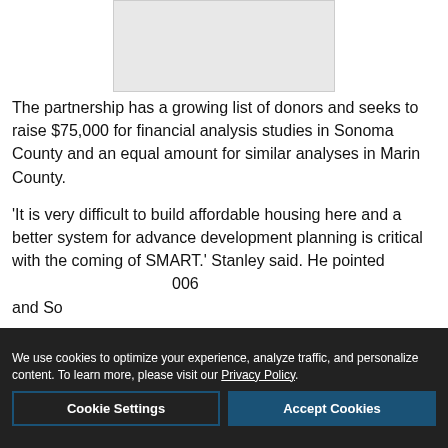[Figure (other): Gray placeholder image box at top center of page]
The partnership has a growing list of donors and seeks to raise $75,000 for financial analysis studies in Sonoma County and an equal amount for similar analyses in Marin County.
'It is very difficult to build affordable housing here and a better system for advance development planning is critical with the coming of SMART,' Stanley said. He pointed...006 and So...
[Figure (other): Advertisement banner for Redwood Credit Union Commercial Real Estate Loans. Left side green with white bold text 'COMMERCIAL REAL ESTATE LOANS', right side white with Redwood Credit Union logo and 'Equal Housing Lender' text.]
We use cookies to optimize your experience, analyze traffic, and personalize content. To learn more, please visit our Privacy Policy.
Cookie Settings | Accept Cookies